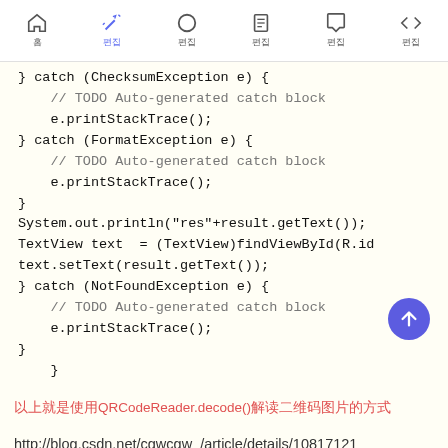Toolbar with icons and Korean labels
} catch (ChecksumException e) {
    // TODO Auto-generated catch block
    e.printStackTrace();
} catch (FormatException e) {
    // TODO Auto-generated catch block
    e.printStackTrace();
}
System.out.println("res"+result.getText());
TextView text  = (TextView)findViewById(R.id
text.setText(result.getText());
} catch (NotFoundException e) {
    // TODO Auto-generated catch block
    e.printStackTrace();
}
}
以上就是使用QRCodeReader.decode()解读二维码图片的方式
http://blog.csdn.net/cgwcgw_/article/details/10817121